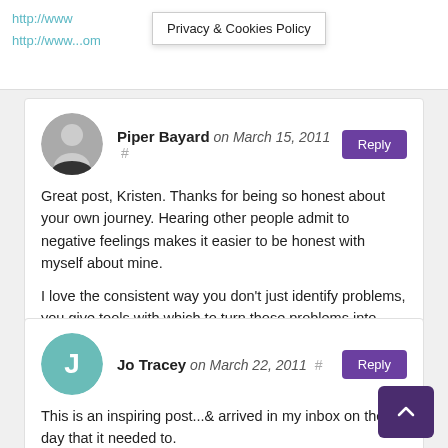http://www... http://www....com
Privacy & Cookies Policy
Piper Bayard on March 15, 2011 # Reply
Great post, Kristen. Thanks for being so honest about your own journey. Hearing other people admit to negative feelings makes it easier to be honest with myself about mine.

I love the consistent way you don't just identify problems, you give tools with which to turn those problems into positives. Thanks for the time and effort you put into your work.
Jo Tracey on March 22, 2011 # Reply
This is an inspiring post...& arrived in my inbox on the ex day that it needed to.